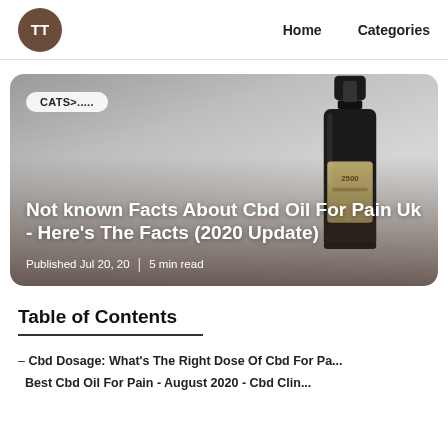TT  Home  Categories
[Figure (photo): Hero image card with CBD oil bottle on gray gradient background. Badge reads 'CATS>.....' in top left. Title overlay: 'Not known Facts About Cbd Oil For Pain Uk - Here's The Facts (2020 Update)'. Meta: Published Jul 20, 20 | 5 min read]
Table of Contents
– Cbd Dosage: What's The Right Dose Of Cbd For Pa...
Best Cbd Oil For Pain - August 2020 - Cbd Clin...